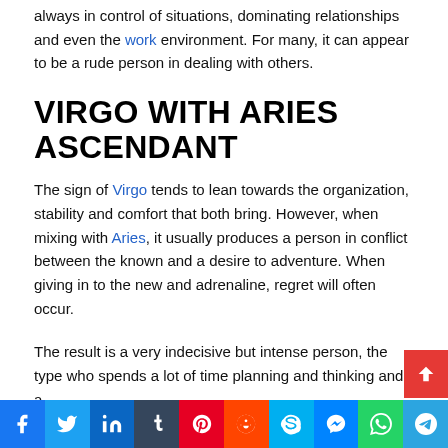always in control of situations, dominating relationships and even the work environment. For many, it can appear to be a rude person in dealing with others.
VIRGO WITH ARIES ASCENDANT
The sign of Virgo tends to lean towards the organization, stability and comfort that both bring. However, when mixing with Aries, it usually produces a person in conflict between the known and a desire to adventure. When giving in to the new and adrenaline, regret will often occur.
The result is a very indecisive but intense person, the type who spends a lot of time planning and thinking and a